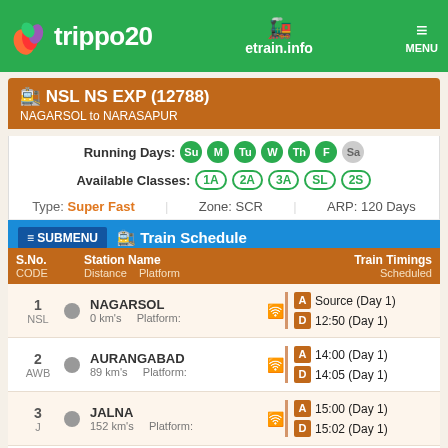trippo20  etrain.info  MENU
NSL NS EXP (12788) - NAGARSOL to NARASAPUR
Running Days: Su M Tu W Th F Sa
Available Classes: 1A 2A 3A SL 2S
Type: Super Fast   Zone: SCR   ARP: 120 Days
Train Schedule
| S.No. CODE | Station Name Distance Platform | Train Timings Scheduled |
| --- | --- | --- |
| 1 NSL | NAGARSOL 0 km's Platform: | A Source (Day 1) D 12:50 (Day 1) |
| 2 AWB | AURANGABAD 89 km's Platform: | A 14:00 (Day 1) D 14:05 (Day 1) |
| 3 J | JALNA 152 km's Platform: | A 15:00 (Day 1) D 15:02 (Day 1) |
| 4 PBN | PARBHANI JN 307 km's Platform: | A 16:30 (Day 1) |